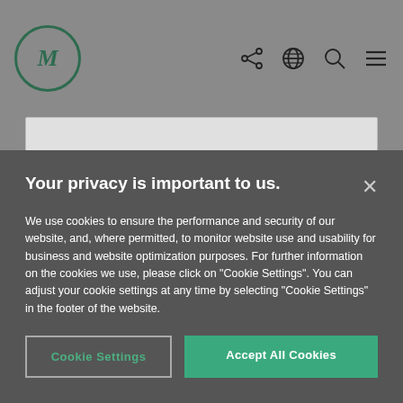[Figure (logo): Circular logo with letter M in dark green on grey background, with navigation icons (share, globe, search, menu) on the right]
Your privacy is important to us.
We use cookies to ensure the performance and security of our website, and, where permitted, to monitor website use and usability for business and website optimization purposes. For further information on the cookies we use, please click on "Cookie Settings". You can adjust your cookie settings at any time by selecting "Cookie Settings" in the footer of the website.